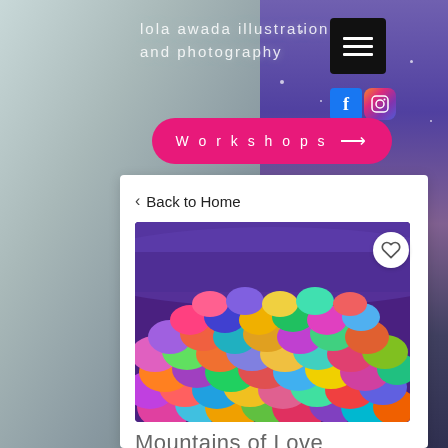lola awada illustration and photography
Workshops →
< Back to Home
[Figure (illustration): Colorful patchwork mountains artwork with purple sky background, with a heart/favorite button overlay]
Mountains of Love